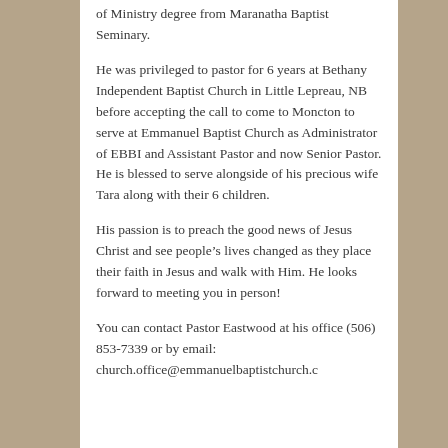of Ministry degree from Maranatha Baptist Seminary.
He was privileged to pastor for 6 years at Bethany Independent Baptist Church in Little Lepreau, NB before accepting the call to come to Moncton to serve at Emmanuel Baptist Church as Administrator of EBBI and Assistant Pastor and now Senior Pastor. He is blessed to serve alongside of his precious wife Tara along with their 6 children.
His passion is to preach the good news of Jesus Christ and see people’s lives changed as they place their faith in Jesus and walk with Him. He looks forward to meeting you in person!
You can contact Pastor Eastwood at his office (506) 853-7339 or by email: church.office@emmanuelbaptistchurch.c